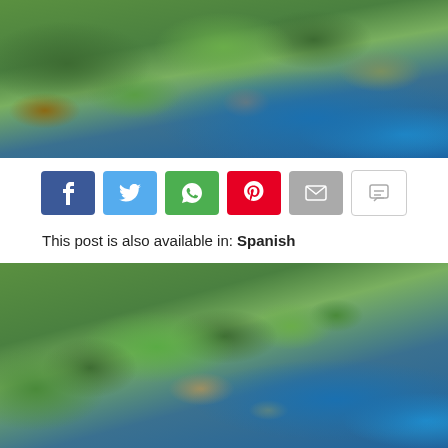[Figure (photo): Aerial view of a golf course along a rocky coastline with green fairways and turquoise ocean water]
[Figure (infographic): Social sharing buttons: Facebook (blue), Twitter (light blue), WhatsApp (green), Pinterest (red), Email (grey), SMS (white/grey outline)]
This post is also available in: Spanish
[Figure (photo): Wide aerial view of a tropical golf course along a coastline with palm trees, green fairways, and blue ocean]